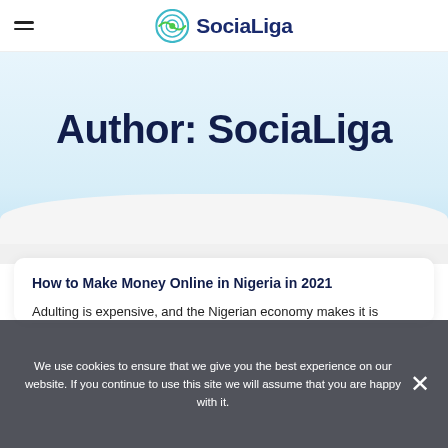SociaLiga
Author: SociaLiga
How to Make Money Online in Nigeria in 2021
Adulting is expensive, and the Nigerian economy makes it is worse for young Nigerians. It's ... it, we need more, more and more money because quite frankly it is the way to go this new year.
We use cookies to ensure that we give you the best experience on our website. If you continue to use this site we will assume that you are happy with it.